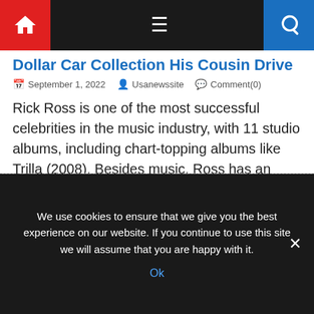Navigation bar with home icon, hamburger menu, and search icon
Dollar Car Collection His Cousin Drive
September 1, 2022   Usanewssite   Comment(0)
Rick Ross is one of the most successful celebrities in the music industry, with 11 studio albums, including chart-topping albums like Trilla (2008). Besides music, Ross has an affinity for cars as he boasts over 100 cars, including modern luxury models and classic cars. Rick Ross | Paras Griffin/Getty Images Usually, it’s safe to assume […]
We use cookies to ensure that we give you the best experience on our website. If you continue to use this site we will assume that you are happy with it. Ok